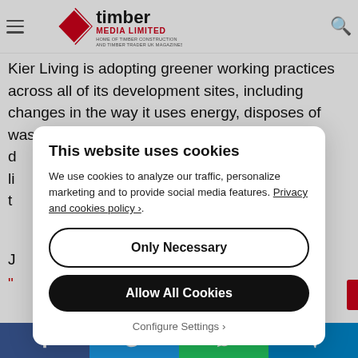Timber Media Limited – Home of Timber Construction and Timber Trader UK Magazines
annual CO₂ base per footprint.
Kier Living is adopting greener working practices across all of its development sites, including changes in the way it uses energy, disposes of waste and how it uses equipment.
This website uses cookies
We use cookies to analyze our traffic, personalize marketing and to provide social media features. Privacy and cookies policy ›.
Only Necessary
Allow All Cookies
Configure Settings ›
Facebook | Twitter | WhatsApp | Telegram